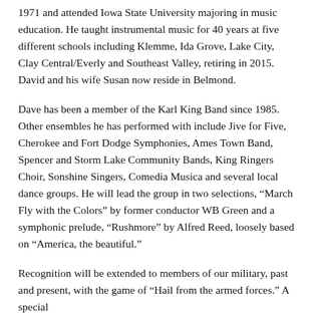1971 and attended Iowa State University majoring in music education. He taught instrumental music for 40 years at five different schools including Klemme, Ida Grove, Lake City, Clay Central/Everly and Southeast Valley, retiring in 2015. David and his wife Susan now reside in Belmond.
Dave has been a member of the Karl King Band since 1985. Other ensembles he has performed with include Jive for Five, Cherokee and Fort Dodge Symphonies, Ames Town Band, Spencer and Storm Lake Community Bands, King Ringers Choir, Sonshine Singers, Comedia Musica and several local dance groups. He will lead the group in two selections, “March Fly with the Colors” by former conductor WB Green and a symphonic prelude, “Rushmore” by Alfred Reed, loosely based on “America, the beautiful.”
Recognition will be extended to members of our military, past and present, with the game of “Hail from the armed forces.” A special